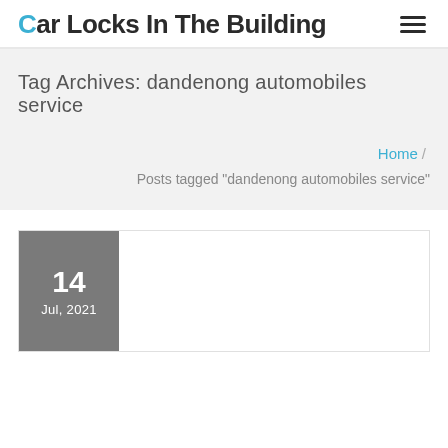Car Locks In The Building
Tag Archives: dandenong automobiles service
Home / Posts tagged "dandenong automobiles service"
14 Jul, 2021